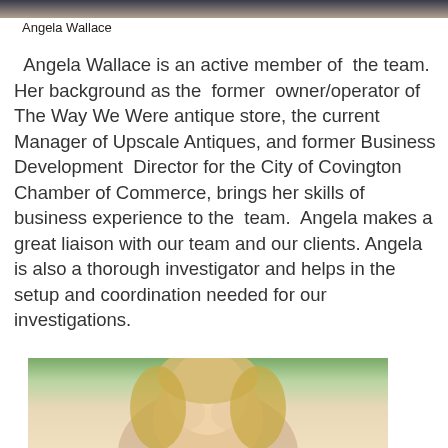[Figure (photo): Top portion of a photo of Angela Wallace, cropped at top of page]
Angela Wallace
Angela Wallace is an active member of the team. Her background as the former owner/operator of The Way We Were antique store, the current Manager of Upscale Antiques, and former Business Development Director for the City of Covington Chamber of Commerce, brings her skills of business experience to the team. Angela makes a great liaison with our team and our clients. Angela is also a thorough investigator and helps in the setup and coordination needed for our investigations.
[Figure (photo): Portrait photo of a blonde woman, partially visible at bottom of page]